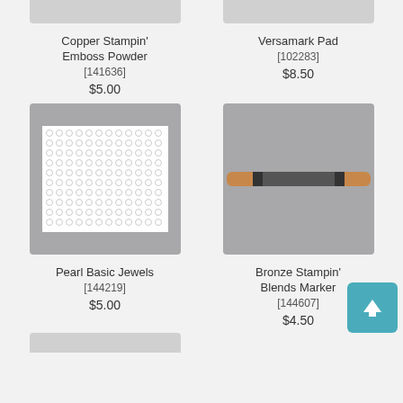[Figure (photo): Partial top of product image for Copper Stampin' Emboss Powder]
[Figure (photo): Partial top of product image for Versamark Pad]
Copper Stampin' Emboss Powder [141636] $5.00
Versamark Pad [102283] $8.50
[Figure (photo): Pearl Basic Jewels product photo showing white sheet of pearl dots on grey background]
[Figure (photo): Bronze Stampin' Blends Marker product photo showing a double-ended marker on grey background]
Pearl Basic Jewels [144219] $5.00
Bronze Stampin' Blends Marker [144607] $4.50
[Figure (photo): Partial bottom stub of another product image]